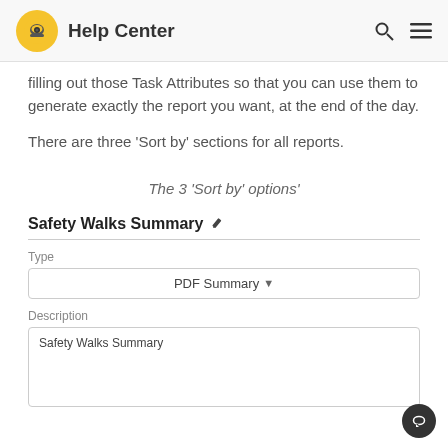Help Center
filling out those Task Attributes so that you can use them to generate exactly the report you want, at the end of the day.
There are three ‘Sort by’ sections for all reports.
The 3 ‘Sort by’ options’
Safety Walks Summary
Type
PDF Summary
Description
Safety Walks Summary